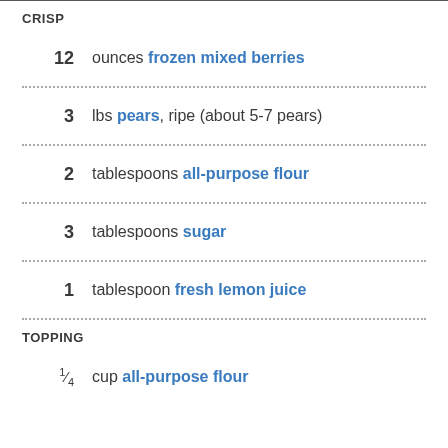CRISP
12 ounces frozen mixed berries
3 lbs pears, ripe (about 5-7 pears)
2 tablespoons all-purpose flour
3 tablespoons sugar
1 tablespoon fresh lemon juice
TOPPING
1/4 cup all-purpose flour